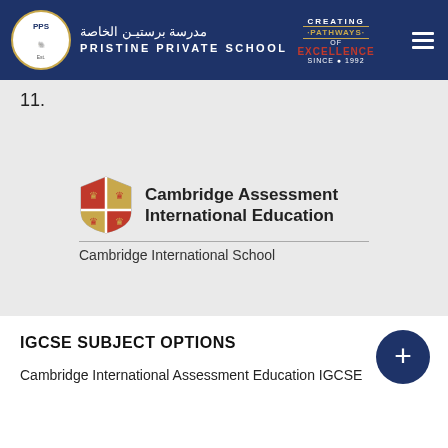[Figure (logo): Pristine Private School header with Arabic name, English name, school crest logo, 'Creating Pathways of Excellence Since 1992' tagline, and hamburger menu icon on dark navy background]
11.
[Figure (logo): Cambridge Assessment International Education logo with shield crest and 'Cambridge International School' subtitle]
IGCSE SUBJECT OPTIONS
Cambridge International Assessment Education IGCSE